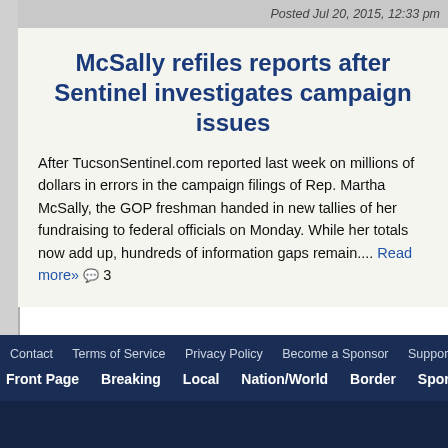Posted Jul 20, 2015, 12:33 pm
McSally refiles reports after Sentinel investigates campaign issues
After TucsonSentinel.com reported last week on millions of dollars in errors in the campaign filings of Rep. Martha McSally, the GOP freshman handed in new tallies of her fundraising to federal officials on Monday. While her totals now add up, hundreds of information gaps remain.... Read more» 💬 3
Contact   Terms of Service   Privacy Policy   Become a Sponsor   Support our work   Fa...
Front Page   Breaking   Local   Nation/World   Border   Sports   Opinion